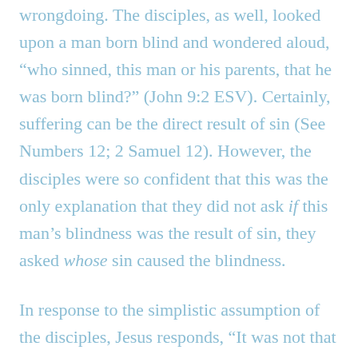wrongdoing. The disciples, as well, looked upon a man born blind and wondered aloud, “who sinned, this man or his parents, that he was born blind?” (John 9:2 ESV). Certainly, suffering can be the direct result of sin (See Numbers 12; 2 Samuel 12). However, the disciples were so confident that this was the only explanation that they did not ask if this man’s blindness was the result of sin, they asked whose sin caused the blindness.
In response to the simplistic assumption of the disciples, Jesus responds, “It was not that this man sinned, or his parents, but that the works of God might be displayed in him” (John 9:3 ESV).